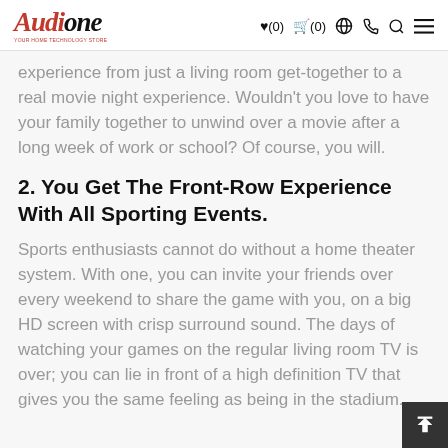AudioOne — navigation bar with logo and icons: heart (0), cart (0), globe, phone, search, menu
experience from just a living room get-together to a real movie night experience. Wouldn't you love to have your family together to unwind over a movie after a long week of work or school? Of course, you will.
2. You Get The Front-Row Experience With All Sporting Events.
Sports enthusiasts cannot do without a home theater system. With one, you can invite your friends over every weekend to share the game with you, on a big HD screen with crisp surround sound. The days of watching your games on the regular living room TV is over; you can lie in front of a high definition TV that gives you the same feeling as being in the stadium.